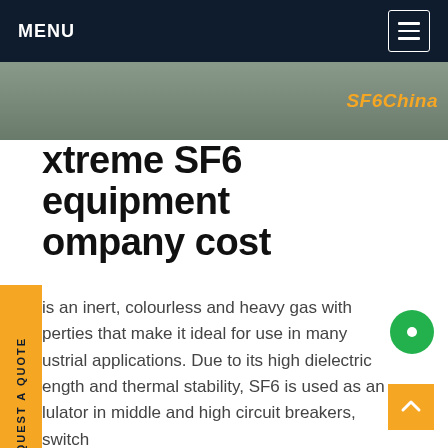MENU
[Figure (photo): Top photo strip showing SF6 equipment with 'SF6China' watermark in orange text]
extreme SF6 equipment company cost
is an inert, colourless and heavy gas with properties that make it ideal for use in many industrial applications. Due to its high dielectric strength and thermal stability, SF6 is used as an lulator in middle and high circuit breakers, switch irs, and other electrical equipment.Get price
[Figure (photo): Bottom photo showing orange SF6 equipment/device with circular gauges in an industrial setting]